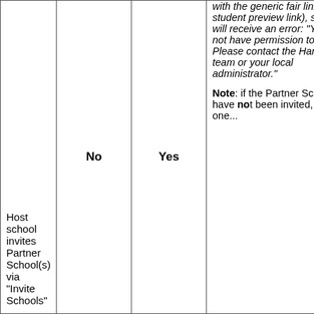|  |  |  |  |
| --- | --- | --- | --- |
| Host school invites Partner School(s) via "Invite Schools" | No | Yes | with the generic fair link (not student preview link), students will receive an error: "You do not have permission to do that. Please contact the Handshake team or your local administrator." Note: if the Partner School(s) have not been invited, and one... |